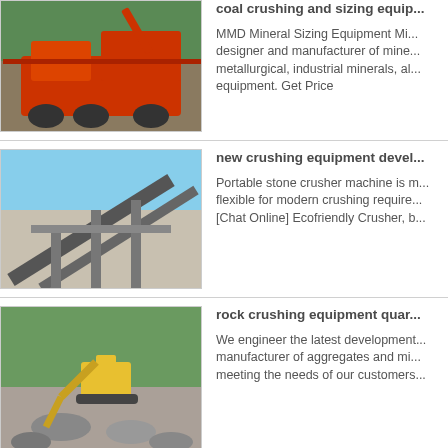[Figure (photo): Orange mobile coal crushing and sizing machine on a rocky site]
coal crushing and sizing equip...
MMD Mineral Sizing Equipment Mi... designer and manufacturer of mine... metallurgical, industrial minerals, al... equipment. Get Price
[Figure (photo): Industrial crushing conveyor structure against blue sky]
new crushing equipment devel...
Portable stone crusher machine is m... flexible for modern crushing require... [Chat Online] Ecofriendly Crusher, b...
[Figure (photo): Yellow excavator and rock crushing equipment at a quarry]
rock crushing equipment quar...
We engineer the latest development... manufacturer of aggregates and mi... meeting the needs of our customers...
[Figure (photo): Blue sky background partial image for MMD Mining Technology entry]
MMD - Mining Technology | Min...